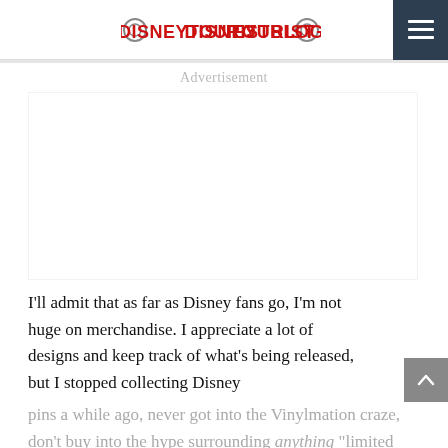DISNEYTOURISTBLOG
Advertisement
I'll admit that as far as Disney fans go, I'm not huge on merchandise. I appreciate a lot of designs and keep track of what's being released, but I stopped collecting Disney pins a while ago, never got into the Vinylmation craze, don't buy into the hype surrounding anything "limited